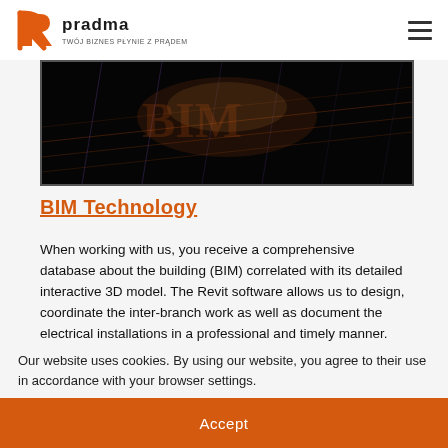pradma — TWÓJ BIZNES PŁYNIE Z PRĄDEM
[Figure (photo): Dark hero image showing a BIM/3D building model visualization with orange and purple grid lines on a black background]
BIM Technology
When working with us, you receive a comprehensive database about the building (BIM) correlated with its detailed interactive 3D model. The Revit software allows us to design, coordinate the inter-branch work as well as document the electrical installations in a professional and timely manner.
Our website uses cookies. By using our website, you agree to their use in accordance with your browser settings.
Accept